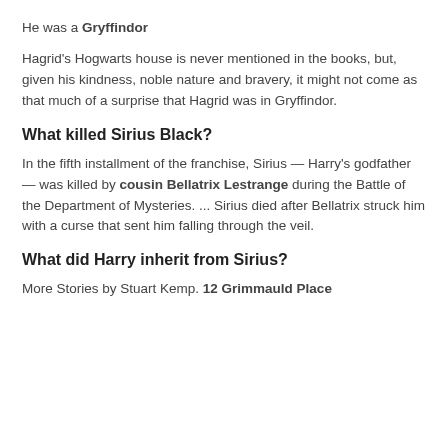He was a Gryffindor
Hagrid's Hogwarts house is never mentioned in the books, but, given his kindness, noble nature and bravery, it might not come as that much of a surprise that Hagrid was in Gryffindor.
What killed Sirius Black?
In the fifth installment of the franchise, Sirius — Harry's godfather — was killed by cousin Bellatrix Lestrange during the Battle of the Department of Mysteries. ... Sirius died after Bellatrix struck him with a curse that sent him falling through the veil.
What did Harry inherit from Sirius?
More Stories by Stuart Kemp. 12 Grimmauld Place